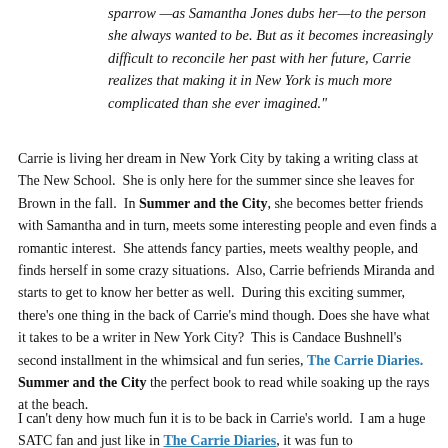sparrow —as Samantha Jones dubs her—to the person she always wanted to be. But as it becomes increasingly difficult to reconcile her past with her future, Carrie realizes that making it in New York is much more complicated than she ever imagined."
Carrie is living her dream in New York City by taking a writing class at The New School.  She is only here for the summer since she leaves for Brown in the fall.  In Summer and the City, she becomes better friends with Samantha and in turn, meets some interesting people and even finds a romantic interest.  She attends fancy parties, meets wealthy people, and finds herself in some crazy situations.  Also, Carrie befriends Miranda and starts to get to know her better as well.  During this exciting summer, there's one thing in the back of Carrie's mind though. Does she have what it takes to be a writer in New York City?  This is Candace Bushnell's second installment in the whimsical and fun series, The Carrie Diaries.  Summer and the City the perfect book to read while soaking up the rays at the beach.
I can't deny how much fun it is to be back in Carrie's world.  I am a huge SATC fan and just like in The Carrie Diaries, it was fun to